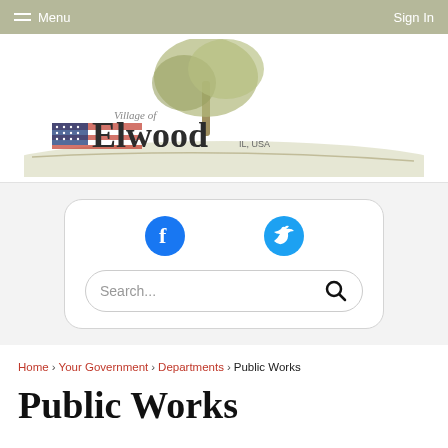Menu   Sign In
[Figure (logo): Village of Elwood IL, USA logo with a tree illustration and American flag motif]
[Figure (infographic): Rounded white box containing Facebook and Twitter social media icons, and a Search bar with magnifying glass icon]
Home > Your Government > Departments > Public Works
Public Works